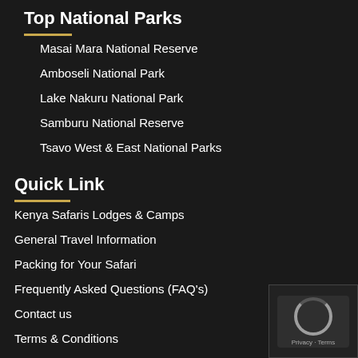Top National Parks
Masai Mara National Reserve
Amboseli National Park
Lake Nakuru National Park
Samburu National Reserve
Tsavo West & East National Parks
Quick Link
Kenya Safaris Lodges & Camps
General Travel Information
Packing for Your Safari
Frequently Asked Questions (FAQ's)
Contact us
Terms & Conditions
Our Blog